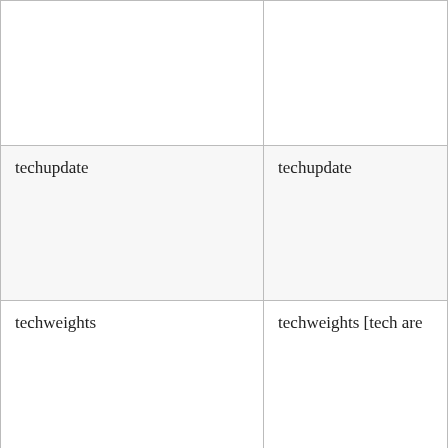|  |  |
| techupdate | techupdate |
| techweights | techweights [tech are |
| terraforming_resources | terraforming_resourc |